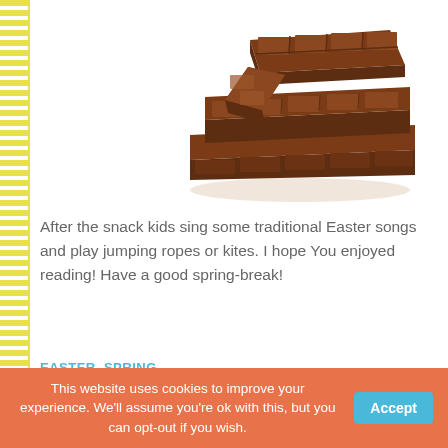[Figure (photo): Stack of dark chocolate pieces/squares on white background]
After the snack kids sing some traditional Easter songs and play jumping ropes or kites. I hope You enjoyed reading! Have a good spring-break!
EASTER, SPRING
Share this post:
[Figure (infographic): Social media share icons: Facebook (blue circle), Twitter (light blue circle), Pinterest (red circle), Mail/other (green circle)]
This website uses cookies to improve your experience. We'll assume you're ok with this, but you can opt-out if you wish.